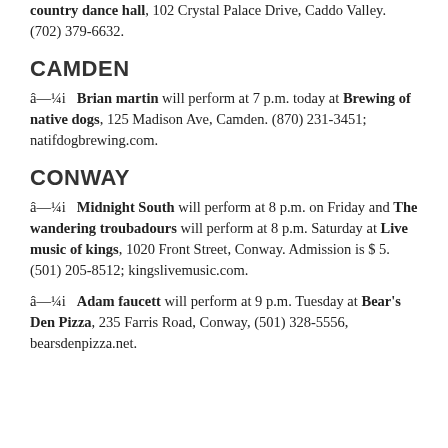country dance hall, 102 Crystal Palace Drive, Caddo Valley. (702) 379-6632.
CAMDEN
â—¼i, Brian martin will perform at 7 p.m. today at Brewing of native dogs, 125 Madison Ave, Camden. (870) 231-3451; natifdogbrewing.com.
CONWAY
â—¼i, Midnight South will perform at 8 p.m. on Friday and The wandering troubadours will perform at 8 p.m. Saturday at Live music of kings, 1020 Front Street, Conway. Admission is $ 5. (501) 205-8512; kingslivemusic.com.
â—¼i, Adam faucett will perform at 9 p.m. Tuesday at Bear's Den Pizza, 235 Farris Road, Conway, (501) 328-5556, bearsdenpizza.net.